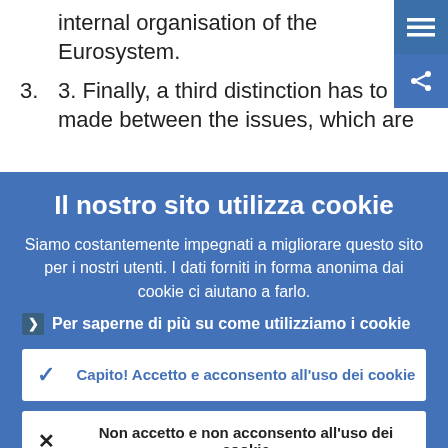internal organisation of the Eurosystem.
3. Finally, a third distinction has to be made between the issues, which are
Il nostro sito utilizza cookie
Siamo costantemente impegnati a migliorare questo sito per i nostri utenti. I dati forniti in forma anonima dai cookie ci aiutano a farlo.
Per saperne di più su come utilizziamo i cookie
Capito! Accetto e acconsento all'uso dei cookie
Non accetto e non acconsento all'uso dei cookie